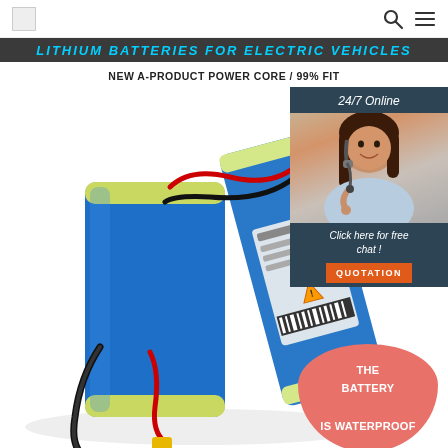Logo | Search | Menu
LITHIUM BATTERIES FOR ELECTRIC VEHICLES
NEW A-PRODUCT POWER CORE / 99% FIT
[Figure (photo): Two blue lithium battery packs for electric vehicles with black and red wiring and yellow connector, shown against white background. Overlay includes a customer service agent photo with '24/7 Online' label, 'Click here for free chat!' text, 'QUOTATION' button, and a pink/red oval badge reading 'THE BATTERY IS WATERPROOF'.]